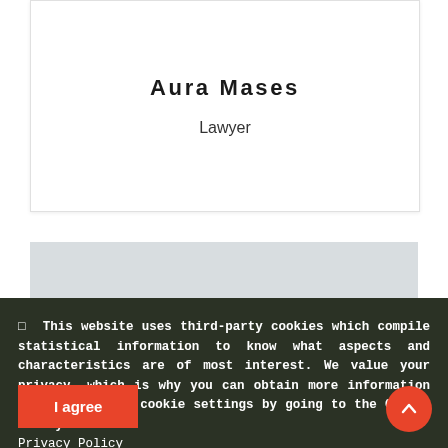Aura Mases
Lawyer
[Figure (photo): Partial view of a person's head with dark hair, appearing in a light grey/blue photo card.]
☑  This website uses third-party cookies which compile statistical information to know what aspects and characteristics are of most interest. We value your privacy, which is why you can obtain more information and change your cookie settings by going to the Cookie Policy
Privacy Policy
I agree